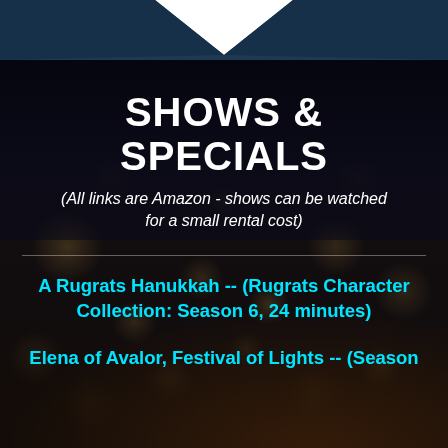[Figure (illustration): Dark background with bokeh/string lights and silhouette figures, with a teal/dark-blue chevron shape at the top]
SHOWS & SPECIALS
(All links are Amazon - shows can be watched for a small rental cost)
A Rugrats Hanukkah -- (Rugrats Character Collection: Season 6, 24 minutes)
Elena of Avalor, Festival of Lights -- (Season